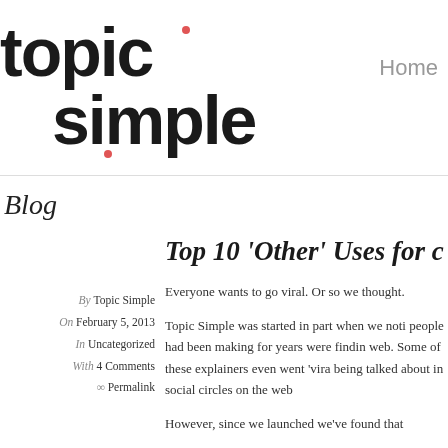[Figure (logo): topic simple logo with red dots, black sans-serif bold text]
Home
Blog
Top 10 'Other' Uses for c
By Topic Simple
On February 5, 2013
In Uncategorized
With 4 Comments
∞ Permalink
Everyone wants to go viral. Or so we thought.
Topic Simple was started in part when we noti people had been making for years were findin web. Some of these explainers even went 'vira being talked about in social circles on the web
However, since we launched we've found that